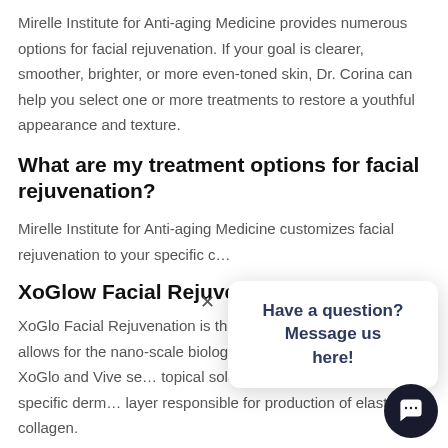Mirelle Institute for Anti-aging Medicine provides numerous options for facial rejuvenation. If your goal is clearer, smoother, brighter, or more even-toned skin, Dr. Corina can help you select one or more treatments to restore a youthful appearance and texture.
What are my treatment options for facial rejuvenation?
Mirelle Institute for Anti-aging Medicine customizes facial rejuvenation to your specific c...
XoGlow Facial Rejuvenatio...
XoGlo Facial Rejuvenation is th... aging! Our thulium laser allows for the nano-scale biological capsules present in the XoGlo and Vive se... topical solutions to be delivered to the specific derm... layer responsible for production of elastin and collagen.
[Figure (other): Chat popup overlay with close button (×), text 'Have a question? Message us here!' in dark blue bold text, and a circular dark chat bubble button with speech icon in the bottom right corner.]